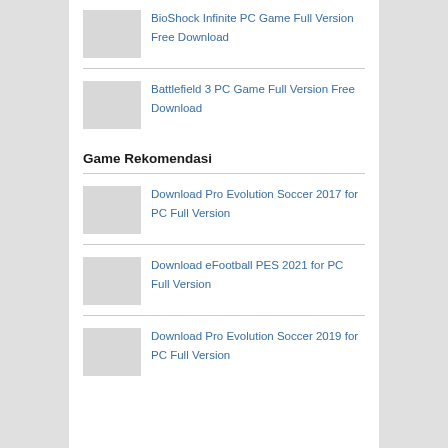BioShock Infinite PC Game Full Version Free Download
Battlefield 3 PC Game Full Version Free Download
Game Rekomendasi
Download Pro Evolution Soccer 2017 for PC Full Version
Download eFootball PES 2021 for PC Full Version
Download Pro Evolution Soccer 2019 for PC Full Version